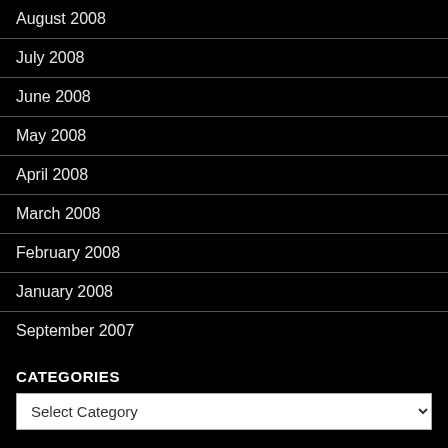August 2008
July 2008
June 2008
May 2008
April 2008
March 2008
February 2008
January 2008
September 2007
CATEGORIES
Select Category